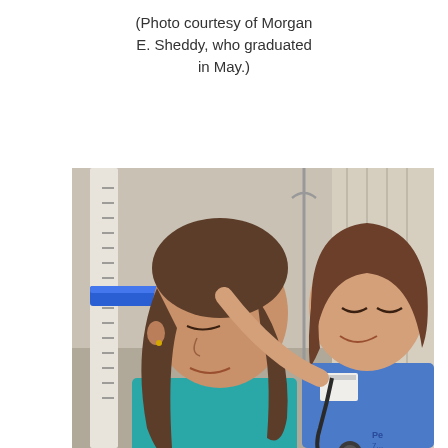(Photo courtesy of Morgan E. Sheddy, who graduated in May.)
[Figure (photo): A nurse in blue scrubs with a stethoscope measures the height of a young girl using a stadiometer (height ruler). The girl has long brown hair and is wearing a teal shirt. The setting appears to be a medical clinic or examination room with a curtain in the background.]